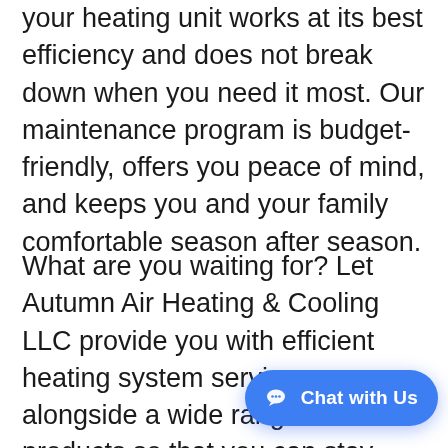your heating unit works at its best efficiency and does not break down when you need it most. Our maintenance program is budget-friendly, offers you peace of mind, and keeps you and your family comfortable season after season.
What are you waiting for? Let Autumn Air Heating & Cooling LLC provide you with efficient heating system services alongside a wide range of products so that you can stay cozy and comfortable this summer. Call us today at (602) 266-5247 f… HVAC replacement Phoenix, AZ.